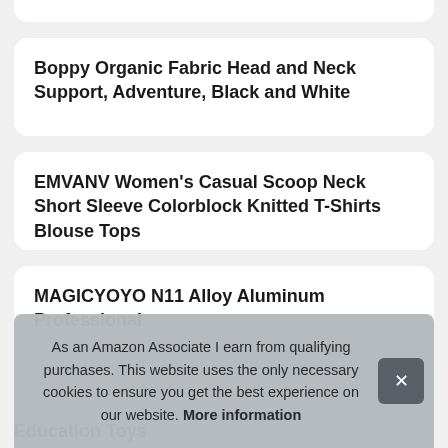Boppy Organic Fabric Head and Neck Support, Adventure, Black and White
EMVANV Women's Casual Scoop Neck Short Sleeve Colorblock Knitted T-Shirts Blouse Tops
MAGICYOYO N11 Alloy Aluminum Professional
Education Toys
As an Amazon Associate I earn from qualifying purchases. This website uses the only necessary cookies to ensure you get the best experience on our website. More information